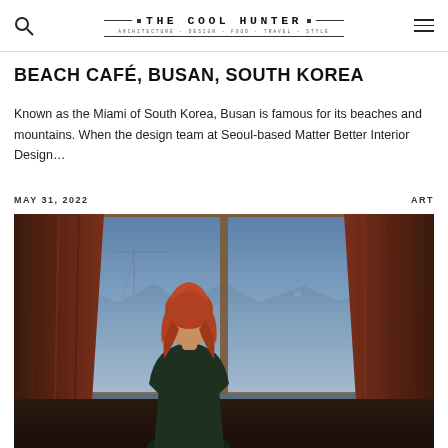THE COOL HUNTER
BEACH CAFÉ, BUSAN, SOUTH KOREA
Known as the Miami of South Korea, Busan is famous for its beaches and mountains. When the design team at Seoul-based Matter Better Interior Design…
MAY 31, 2022
ART
[Figure (photo): A woman with red hair seen from behind, standing near an open window with red curtains, looking out over a city skyline at dusk with a blue sky and a crane visible in the background.]